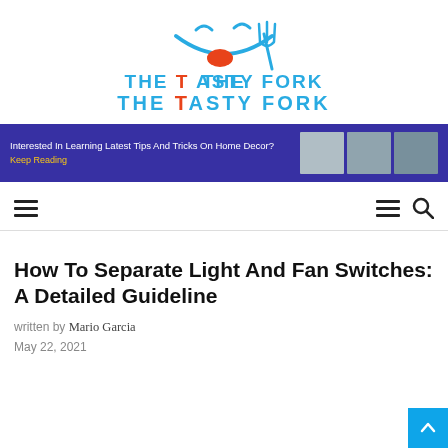[Figure (logo): The Tasty Fork logo: blue smile/fork icon above text 'THE TASTY FORK' in blue with orange accent on letter T]
[Figure (infographic): Dark blue/indigo banner ad: 'Interested In Learning Latest Tips And Tricks On Home Decor?' with yellow 'Keep Reading' link and three home decor thumbnail images on the right]
Navigation bar with hamburger menu icons and search icon
How To Separate Light And Fan Switches: A Detailed Guideline
written by Mario Garcia
May 22, 2021